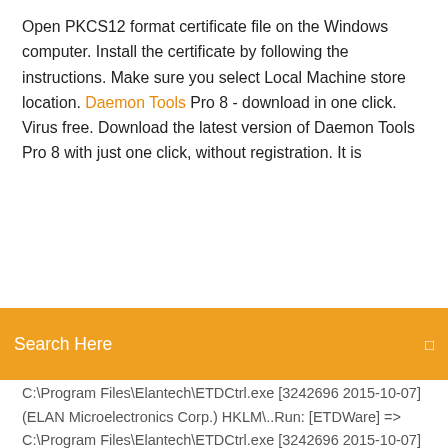Open PKCS12 format certificate file on the Windows computer. Install the certificate by following the instructions. Make sure you select Local Machine store location. Daemon Tools Pro 8 - download in one click. Virus free. Download the latest version of Daemon Tools Pro 8 with just one click, without registration. It is...
Search Here
C:\Program Files\Elantech\ETDCtrl.exe [3242696 2015-10-07] (ELAN Microelectronics Corp.) HKLM\..Run: [ETDWare] => C:\Program Files\Elantech\ETDCtrl.exe [3242696 2015-10-07] (ELAN Microelectronics Corp.) HKLM\..Run... DAEMON Tools Lite Download (2019 Latest) for Windows 10, 8, 7
Free télécharger ccleaner complete version for pc
Mettre à jour driver asus
Ark survival evolved modded servers
Import plan sweet home 3d